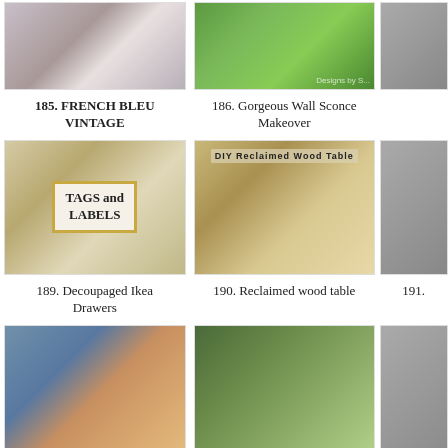[Figure (photo): Thumbnail image for item 185 - French Bleu Vintage]
[Figure (photo): Thumbnail image for item 186 - Gorgeous Wall Sconce Makeover (green chandelier)]
[Figure (photo): Partially visible thumbnail for item 187/188]
185. FRENCH BLEU VINTAGE
186. Gorgeous Wall Sconce Makeover
[Figure (photo): Thumbnail image for item 189 - Decoupaged Ikea Drawers showing Tags and Labels sign]
[Figure (photo): Thumbnail image for item 190 - Reclaimed wood table with FAMILY sign]
[Figure (photo): Partially visible thumbnail for item 191]
189. Decoupaged Ikea Drawers
190. Reclaimed wood table
191.
[Figure (photo): Thumbnail image for item 193 - interior staircase]
[Figure (photo): Thumbnail image for item 194 - table centerpiece with greenery]
[Figure (photo): Partially visible thumbnail]